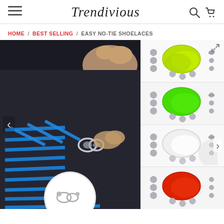Trendivious
HOME / BEST SELLING / EASY NO-TIE SHOELACES
[Figure (photo): Main product photo of blue elastic no-tie shoelaces threaded through a black shoe, with a metal lock clasp being held. A circular inset shows a close-up detail at the bottom.]
[Figure (photo): Thumbnail images on the right showing Easy No-Tie Shoelaces in yellow-green, bright green, white, and red colors with metal components.]